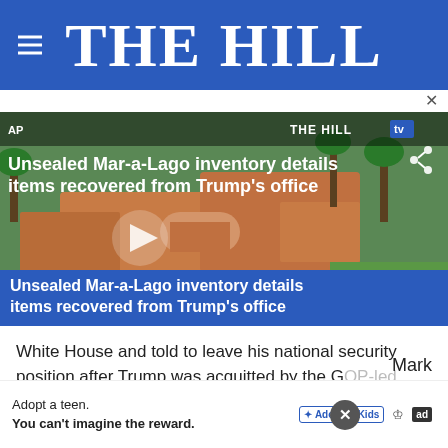THE HILL
[Figure (screenshot): Video thumbnail showing aerial view of Mar-a-Lago estate with overlay text: 'Unsealed Mar-a-Lago inventory details items recovered from Trump's office'. THE HILL TV logo visible in top right. AP label in top left. Blue caption bar at bottom repeating the headline.]
White House and told to leave his national security position after Trump was acquitted by the GOP-led Senate. Following the development, Trump openly suggested addition... Mark
Adopt a teen. You can't imagine the reward.